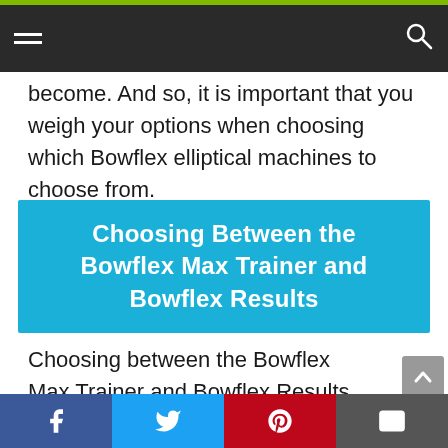[Navigation bar with hamburger menu and search icon]
become. And so, it is important that you weigh your options when choosing which Bowflex elliptical machines to choose from.
Choosing Between the Bowflex Max Trainer and Bowflex Results
Choosing between the Bowflex Max Trainer and Bowflex Results is not such a difficult decision to make. Although we already have noted in this review the differences and buying considerations for those line of elliptical exercise machines. But
[Social share bar: Facebook, Twitter, Pinterest, Email]